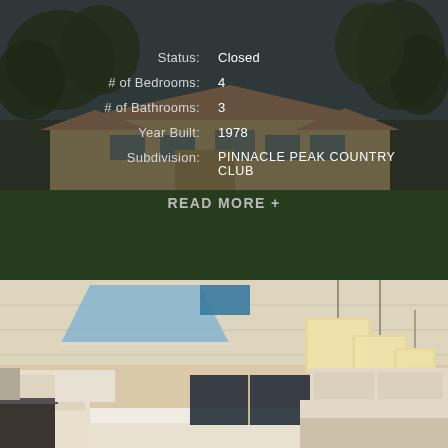[Figure (photo): Exterior photo of a ranch-style home with green lawn and trees, darkened with overlay]
Status: Closed
# of Bedrooms: 4
# of Bathrooms: 3
Year Built: 1978
Subdivision: PINNACLE PEAK COUNTRY CLUB
READ MORE +
[Figure (photo): Interior photo of a bright modern kitchen with white cabinets, island, pendant lights, and skylights]